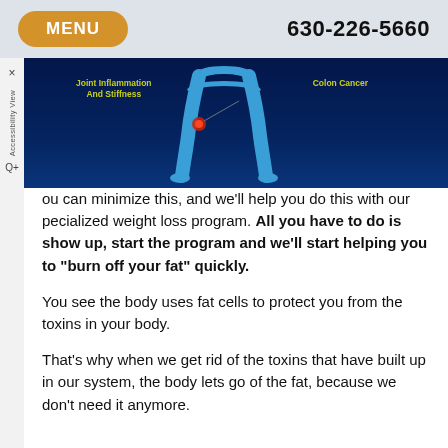MENU  630-226-5660
[Figure (illustration): Medical illustration of human legs (blue X-ray style) on dark navy background, with yellow-green labels: 'Joint Inflammation And Stiffness' pointing to the knee area, and 'Colon Cancer' on the right side.]
ou can minimize this, and we'll help you do this with our pecialized weight loss program. All you have to do is show up, start the program and we'll start helping you to “burn off your fat” quickly.
You see the body uses fat cells to protect you from the toxins in your body.
That’s why when we get rid of the toxins that have built up in our system, the body lets go of the fat, because we don’t need it anymore.